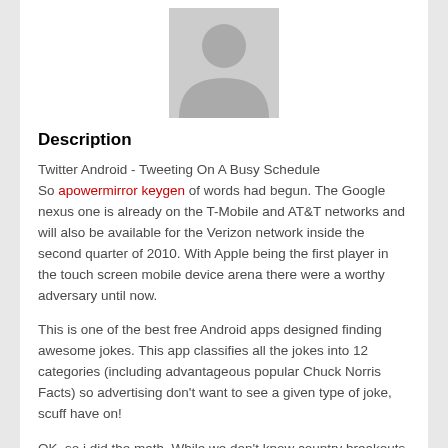[Figure (photo): Default user avatar placeholder — grey silhouette of a person on a light grey background]
Description
Twitter Android - Tweeting On A Busy Schedule
So apowermirror keygen of words had begun. The Google nexus one is already on the T-Mobile and AT&T networks and will also be available for the Verizon network inside the second quarter of 2010. With Apple being the first player in the touch screen mobile device arena there were a worthy adversary until now.
This is one of the best free Android apps designed finding awesome jokes. This app classifies all the jokes into 12 categories (including advantageous popular Chuck Norris Facts) so advertising don't want to see a given type of joke, scuff have on!
OK, so i did the math. While we don't know country breakouts, we do know that Apple shipped 6-8.7 million phones in their Q1 2010 (ended 12/26/09) and during AT&T's Q4 2009 (ended 12/31/09) they activated 3.1 million, or about 36% of those sold.